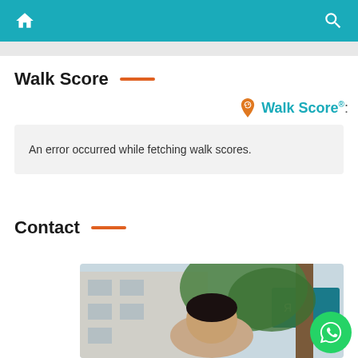Navigation bar with home and search icons
Walk Score
[Figure (logo): Walk Score logo with orange map pin icon and teal 'Walk Score®:' text]
An error occurred while fetching walk scores.
Contact
[Figure (photo): Person standing outdoors near trees and buildings, partial face visible]